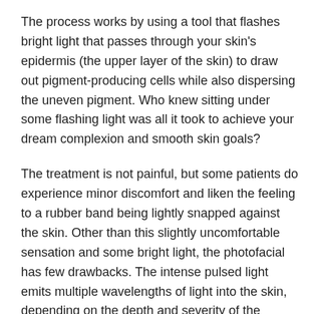The process works by using a tool that flashes bright light that passes through your skin's epidermis (the upper layer of the skin) to draw out pigment-producing cells while also dispersing the uneven pigment. Who knew sitting under some flashing light was all it took to achieve your dream complexion and smooth skin goals?
The treatment is not painful, but some patients do experience minor discomfort and liken the feeling to a rubber band being lightly snapped against the skin. Other than this slightly uncomfortable sensation and some bright light, the photofacial has few drawbacks. The intense pulsed light emits multiple wavelengths of light into the skin, depending on the depth and severity of the damage. Spots are then pulled to the surface, eventually